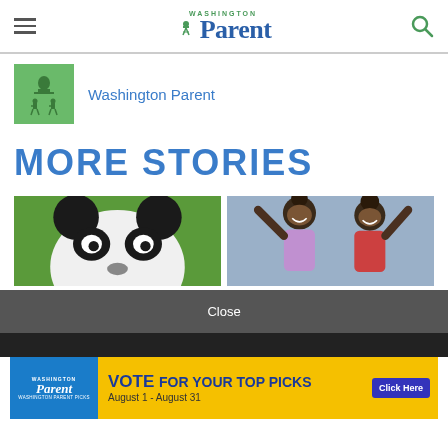Washington Parent
[Figure (logo): Washington Parent publisher logo - green square with capitol building and figures]
Washington Parent
MORE STORIES
[Figure (photo): Close-up of a giant panda's head on green grass background]
[Figure (photo): Two young Black girls with arms raised in celebration, smiling]
Close
[Figure (infographic): Washington Parent ad banner: VOTE FOR YOUR TOP PICKS August 1 - August 31 Click Here]